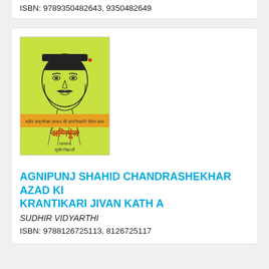ISBN: 9789350482643, 9350482649
[Figure (photo): Book cover of Agnipunj Shahid Chandrashekhar Azad Ki Krantikari Jivan Katha, showing a line drawing portrait of a young man with a mustache on a yellow-green background, with Hindi text and the title Agnipunj in orange/red.]
AGNIPUNJ SHAHID CHANDRASHEKHAR AZAD KI KRANTIKARI JIVAN KATH A
SUDHIR VIDYARTHI
ISBN: 9788126725113, 8126725117